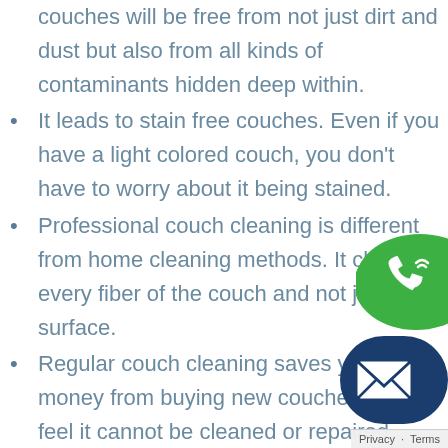couches will be free from not just dirt and dust but also from all kinds of contaminants hidden deep within.
It leads to stain free couches. Even if you have a light colored couch, you don't have to worry about it being stained.
Professional couch cleaning is different from home cleaning methods. It cleans every fiber of the couch and not just the surface.
Regular couch cleaning saves you money from buying new couches if you feel it cannot be cleaned or repaired.
Professional couch cleaning adds more life to your couch, so that you can use it for longer.
Couch cleaning services from Couch Cleaning Haywards Bay delivers flawless cleaning to all kinds of couches, upholstery and sofas. We make your